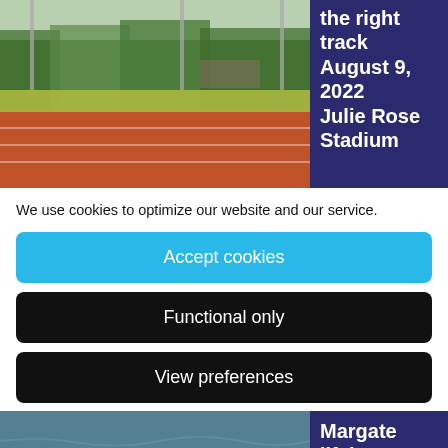[Figure (photo): Aerial view of a red running track with green trees in the background]
the right track
August 9, 2022
Julie Rose Stadium
We use cookies to optimize our website and our service.
Accept cookies
Functional only
View preferences
[Figure (photo): Water rescue scene with a swimmer and paddleboarder]
Margate lifeboat crew rescue swimmer paddleboarder